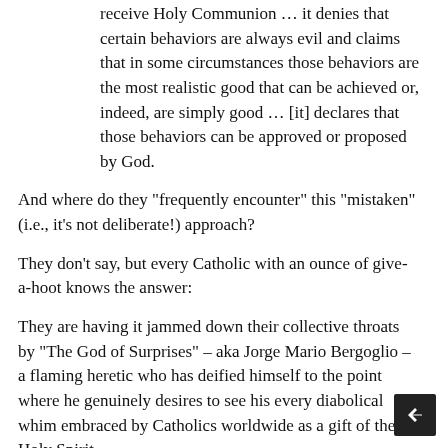receive Holy Communion … it denies that certain behaviors are always evil and claims that in some circumstances those behaviors are the most realistic good that can be achieved or, indeed, are simply good … [it] declares that those behaviors can be approved or proposed by God.
And where do they “frequently encounter” this “mistaken” (i.e., it’s not deliberate!) approach?
They don’t say, but every Catholic with an ounce of give-a-hoot knows the answer:
They are having it jammed down their collective throats by “The God of Surprises” – aka Jorge Mario Bergoglio – a flaming heretic who has deified himself to the point where he genuinely desires to see his every diabolical whim embraced by Catholics worldwide as a gift of the Holy Spirit.